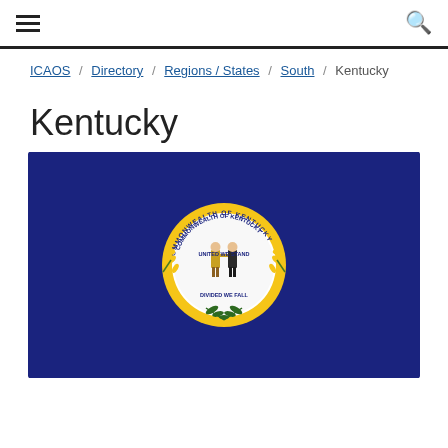☰ 🔍
ICAOS / Directory / Regions / States / South / Kentucky
Kentucky
[Figure (photo): Kentucky state flag — navy blue background with the Commonwealth of Kentucky seal in the center, showing two figures embracing with text 'UNITED WE STAND DIVIDED WE FALL' and 'COMMONWEALTH OF KENTUCKY' around the seal, surrounded by goldenrod flowers and a green sprig.]